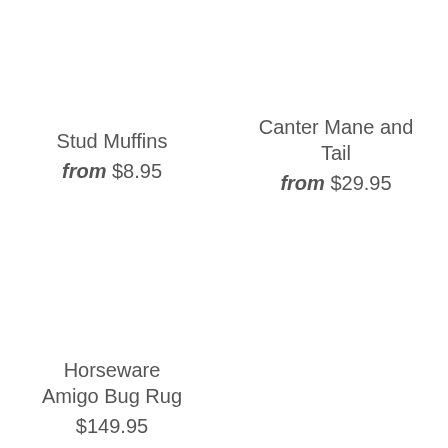Stud Muffins
from $8.95
Canter Mane and Tail
from $29.95
Horseware Amigo Bug Rug
$149.95